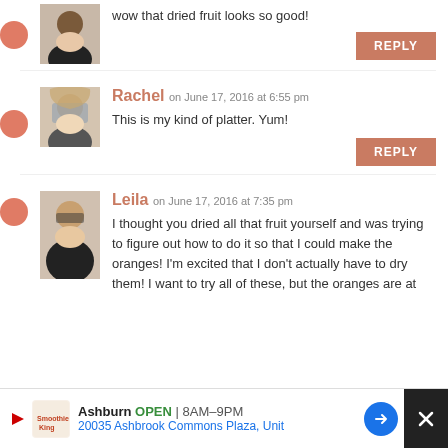wow that dried fruit looks so good!
REPLY
Rachel on June 17, 2016 at 6:55 pm
This is my kind of platter. Yum!
REPLY
Leila on June 17, 2016 at 7:35 pm
I thought you dried all that fruit yourself and was trying to figure out how to do it so that I could make the oranges! I'm excited that I don't actually have to dry them! I want to try all of these, but the oranges are at
Ashburn OPEN | 8AM–9PM
20035 Ashbrook Commons Plaza, Unit